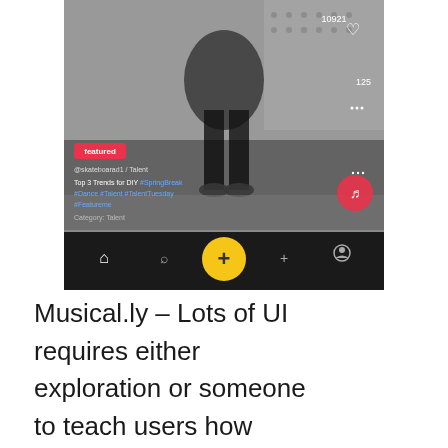[Figure (screenshot): Musical.ly app screenshot showing a featured video with a person sitting on a couch, hashtags #SpringBreak #Dance #Talent #TalentTuesday #Featureme visible, a yellow plus button in the navigation bar, heart icon with 10921 likes, and a red Featured badge.]
Musical.ly – Lots of UI requires either exploration or someone to teach users how features work.